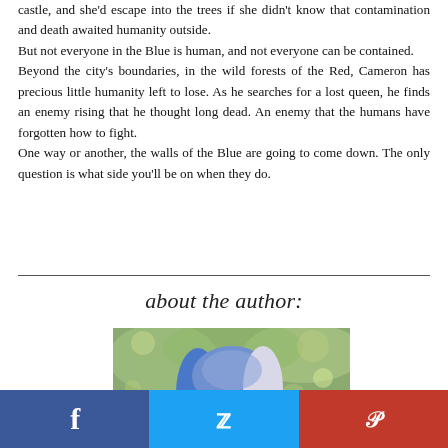castle, and she'd escape into the trees if she didn't know that contamination and death awaited humanity outside.
But not everyone in the Blue is human, and not everyone can be contained.
Beyond the city's boundaries, in the wild forests of the Red, Cameron has precious little humanity left to lose. As he searches for a lost queen, he finds an enemy rising that he thought long dead. An enemy that the humans have forgotten how to fight.
One way or another, the walls of the Blue are going to come down. The only question is what side you'll be on when they do.
about the author:
[Figure (photo): Author photo showing a person with blue and white/grey hair, outdoors with green trees in background]